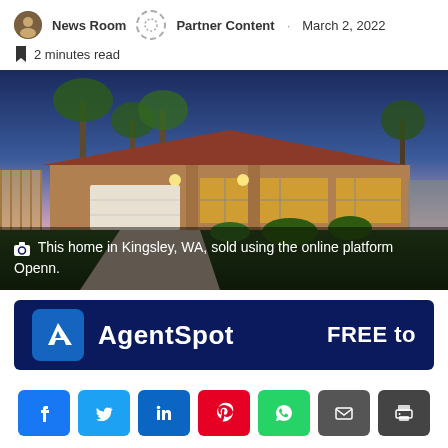News Room · Partner Content · March 2, 2022
2 minutes read
[Figure (photo): Exterior photo of a brick home in Kingsley, WA at dusk with palm trees and warm interior lighting visible]
This home in Kingsley, WA, sold using the online platform Openn.
[Figure (logo): AgentSpot banner ad: blue background with AgentSpot logo and text 'AgentSpot FREE to']
[Figure (infographic): Row of social share buttons: Facebook, Twitter, LinkedIn, Pinterest, WhatsApp, Email, Print]